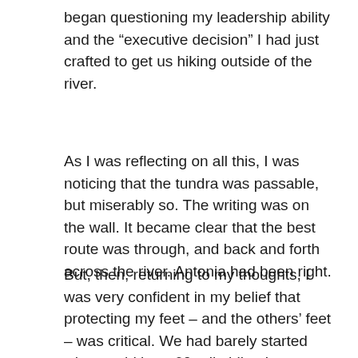began questioning my leadership ability and the “executive decision” I had just crafted to get us hiking outside of the river.
As I was reflecting on all this, I was noticing that the tundra was passable, but miserably so. The writing was on the wall. It became clear that the best route was through, and back and forth across the river. Antonia had been right.
But, then, returning to my thoughts, I was very confident in my belief that protecting my feet – and the others’ feet – was critical. We had barely started what could be a 60-mile hike. I reasoned that taking steps to ensure our feet were not wet and blistered was wise. Furthermore, as leader of the day, I was responsible for our group and ensuring we carried